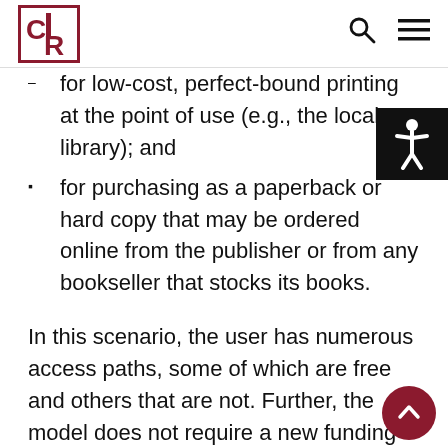CLR logo, search icon, menu icon
for low-cost, perfect-bound printing at the point of use (e.g., the local library); and
for purchasing as a paperback or hard copy that may be ordered online from the publisher or from any bookseller that stocks its books.
In this scenario, the user has numerous access paths, some of which are free and others that are not. Further, the model does not require a new funding source-library patrons have always pai…